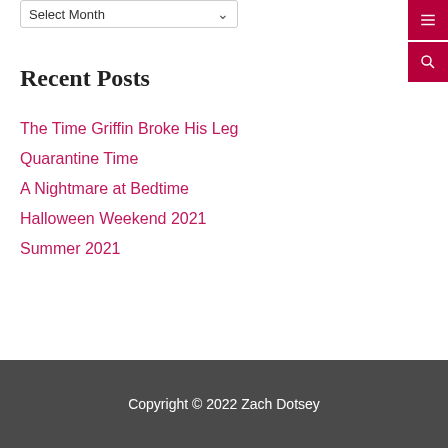Recent Posts
The Time Griffin Broke His Leg
Quarantine Time
A Nightmare at Bedtime
Halloween Weekend 2021
Summer 2021
Copyright © 2022 Zach Dotsey